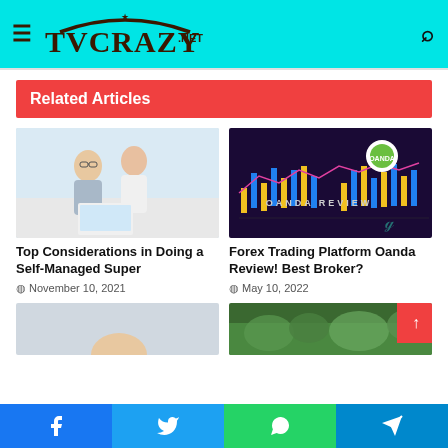TVCRAZY.NET
Related Articles
[Figure (photo): Two people sitting on a couch looking at a laptop computer]
Top Considerations in Doing a Self-Managed Super
November 10, 2021
[Figure (photo): OANDA Review trading platform with candlestick charts and OANDA logo]
Forex Trading Platform Oanda Review! Best Broker?
May 10, 2022
[Figure (photo): Partial bottom image preview left side]
[Figure (photo): Partial bottom image preview right side, green forest/nature]